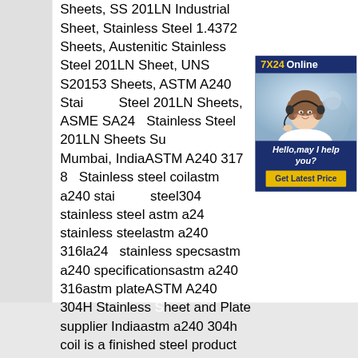Sheets, SS 201LN Industrial Sheet, Stainless Steel 1.4372 Sheets, Austenitic Stainless Steel 201LN Sheet, UNS S20153 Sheets, ASTM A240 Stainless Steel 201LN Sheets, ASME SA240 Stainless Steel 201LN Sheets Supplier Mumbai, IndiaASTM A240 317 8h Stainless steel coilastm a240 stainless steel304 stainless steel astm a240 stainless steelastm a240 316la240 stainless specsastm a240 specificationsastm a240 316astm a240 plateASTM A240 304H Stainless Steel Sheet and Plate supplier Indiaastm a240 304h coil is a finished steel product such as strip or sheet which has to coiled or wound after rolling. It resists moderately aggressive organic acids such as acetic. The nickel present in the alloy gives
[Figure (infographic): Customer service advertisement with dark navy background. Header shows '7X24 Online' in gold and white text. Center shows a photo of a young woman wearing a headset smiling. Bottom section on navy background says 'Hello,may I help you?' in white italic text and a gold button saying 'Get Latest Price'.]